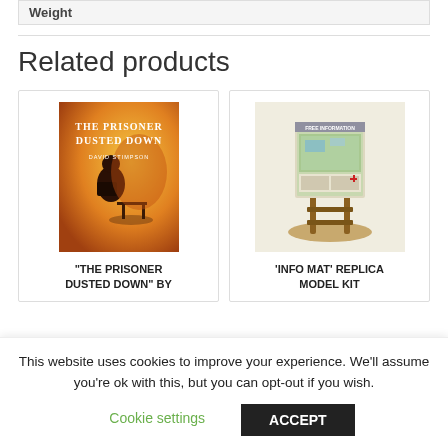Weight
Related products
[Figure (photo): Book cover: 'The Prisoner Dusted Down' by David Stimpson — orange/yellow background with silhouette of seated figure]
"THE PRISONER DUSTED DOWN" BY
[Figure (photo): Photo of 'Info Mat' Replica Model Kit — a miniature wooden display board with map and information panels]
'INFO MAT' REPLICA MODEL KIT
This website uses cookies to improve your experience. We'll assume you're ok with this, but you can opt-out if you wish.
Cookie settings
ACCEPT